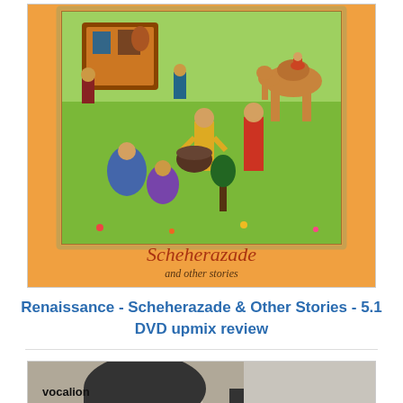[Figure (illustration): Album cover art for Renaissance - Scheherazade and Other Stories. Orange/amber background with a central illustration in a Persian miniature painting style showing figures, a camel, and various scenes. Text reads 'Scheherazade and other stories'.]
Renaissance - Scheherazade & Other Stories - 5.1 DVD upmix review
[Figure (photo): Album cover for Argent - Ring of Hands on Vocalion label. Black and white photo of a man's face with hands near chin. On the right side, color image showing a ring on a hand. Text shows 'vocalion', 'Argent', 'Ring of Hands'.]